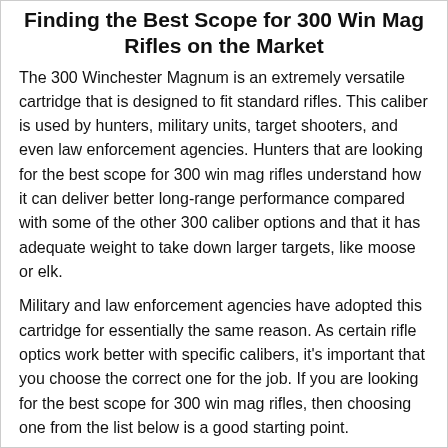Finding the Best Scope for 300 Win Mag Rifles on the Market
The 300 Winchester Magnum is an extremely versatile cartridge that is designed to fit standard rifles. This caliber is used by hunters, military units, target shooters, and even law enforcement agencies. Hunters that are looking for the best scope for 300 win mag rifles understand how it can deliver better long-range performance compared with some of the other 300 caliber options and that it has adequate weight to take down larger targets, like moose or elk.
Military and law enforcement agencies have adopted this cartridge for essentially the same reason. As certain rifle optics work better with specific calibers, it's important that you choose the correct one for the job. If you are looking for the best scope for 300 win mag rifles, then choosing one from the list below is a good starting point.
1- Vortex Crossfire II 4 – 12x50mm AO Rif...